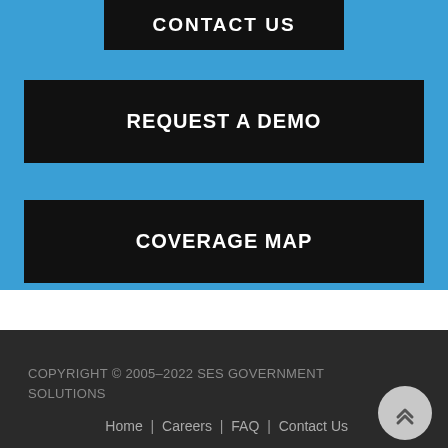CONTACT US
REQUEST A DEMO
COVERAGE MAP
COPYRIGHT © 2005–2022 SES GOVERNMENT SOLUTIONS
Home | Careers | FAQ | Contact Us